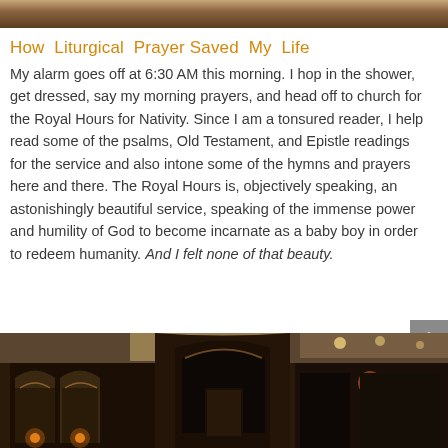[Figure (photo): Partial photo at top of page, showing food or similar warm-toned subject]
How Liturgical Prayer Saved My Life
My alarm goes off at 6:30 AM this morning. I hop in the shower, get dressed, say my morning prayers, and head off to church for the Royal Hours for Nativity. Since I am a tonsured reader, I help read some of the psalms, Old Testament, and Epistle readings for the service and also intone some of the hymns and prayers here and there. The Royal Hours is, objectively speaking, an astonishingly beautiful service, speaking of the immense power and humility of God to become incarnate as a baby boy in order to redeem humanity. And I felt none of that beauty.
[Figure (photo): Interior of an Orthodox church showing iconostasis with icons, arches, and candles visible in dim lighting]